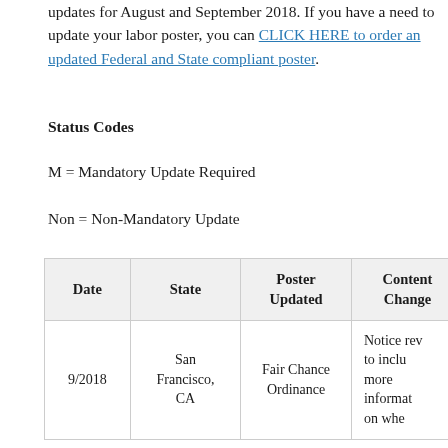updates for August and September 2018. If you have a need to update your labor poster, you can CLICK HERE to order an updated Federal and State compliant poster.
Status Codes
M = Mandatory Update Required
Non = Non-Mandatory Update
| Date | State | Poster Updated | Content Change |
| --- | --- | --- | --- |
| 9/2018 | San Francisco, CA | Fair Chance Ordinance | Notice rev to inclu more informat on whe |